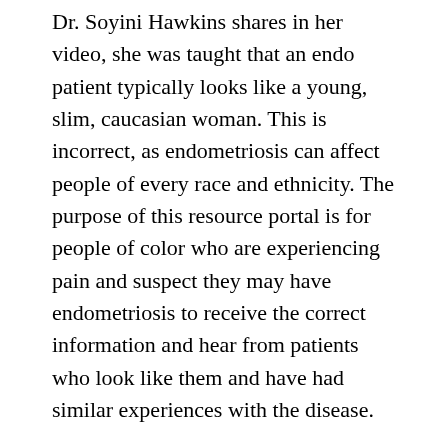Dr. Soyini Hawkins shares in her video, she was taught that an endo patient typically looks like a young, slim, caucasian woman. This is incorrect, as endometriosis can affect people of every race and ethnicity. The purpose of this resource portal is for people of color who are experiencing pain and suspect they may have endometriosis to receive the correct information and hear from patients who look like them and have had similar experiences with the disease.
This portal is an ongoing project. In addition to videos from patients and doctors with endometriosis, we've included resource pages of symptoms to watch out for and questions to ask a doctor. You can also find research articles that highlight the racial and ethnic